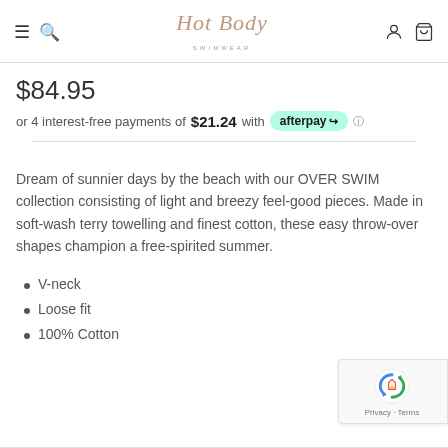Hot Body Swimwear
$84.95
or 4 interest-free payments of $21.24 with afterpay
Dream of sunnier days by the beach with our OVER SWIM collection consisting of light and breezy feel-good pieces. Made in soft-wash terry towelling and finest cotton, these easy throw-over shapes champion a free-spirited summer.
V-neck
Loose fit
100% Cotton
[Figure (logo): reCAPTCHA logo with Privacy and Terms links]